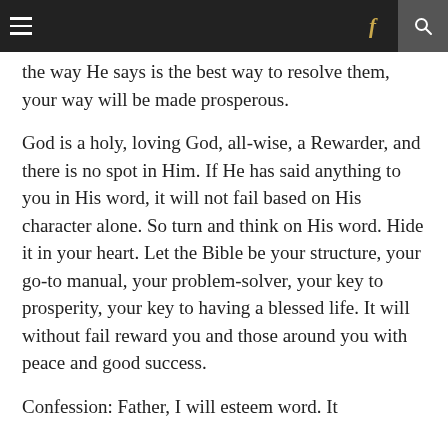≡  f  🔍
the way He says is the best way to resolve them, your way will be made prosperous.
God is a holy, loving God, all-wise, a Rewarder, and there is no spot in Him. If He has said anything to you in His word, it will not fail based on His character alone. So turn and think on His word. Hide it in your heart. Let the Bible be your structure, your go-to manual, your problem-solver, your key to prosperity, your key to having a blessed life. It will without fail reward you and those around you with peace and good success.
Confession: Father, I will esteem word. It